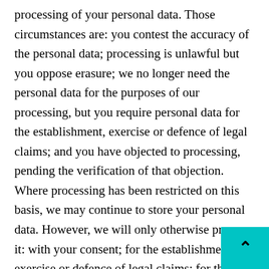processing of your personal data. Those circumstances are: you contest the accuracy of the personal data; processing is unlawful but you oppose erasure; we no longer need the personal data for the purposes of our processing, but you require personal data for the establishment, exercise or defence of legal claims; and you have objected to processing, pending the verification of that objection. Where processing has been restricted on this basis, we may continue to store your personal data. However, we will only otherwise process it: with your consent; for the establishment, exercise or defence of legal claims; for the protection of the rights of another natural or legal person; or for reasons of important public interest.

You have the right to object to our processing of your personal data on grounds relating to your particular